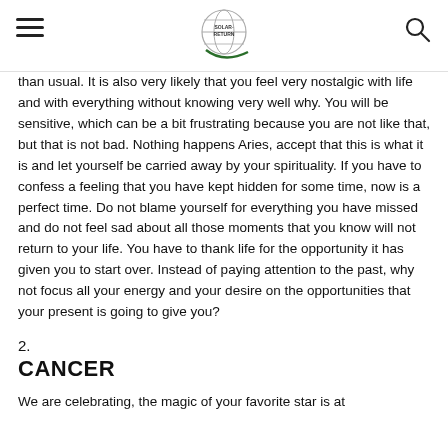[Navigation header with hamburger menu, logo, and search icon]
than usual. It is also very likely that you feel very nostalgic with life and with everything without knowing very well why. You will be sensitive, which can be a bit frustrating because you are not like that, but that is not bad. Nothing happens Aries, accept that this is what it is and let yourself be carried away by your spirituality. If you have to confess a feeling that you have kept hidden for some time, now is a perfect time. Do not blame yourself for everything you have missed and do not feel sad about all those moments that you know will not return to your life. You have to thank life for the opportunity it has given you to start over. Instead of paying attention to the past, why not focus all your energy and your desire on the opportunities that your present is going to give you?
2.
CANCER
We are celebrating, the magic of your favorite star is at